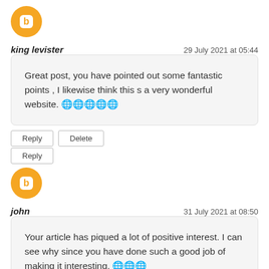[Figure (logo): Blogger avatar icon, orange circle with white B symbol]
king levister
29 July 2021 at 05:44
Great post, you have pointed out some fantastic points , I likewise think this s a very wonderful website. 🌐🌐🌐🌐🌐
Reply | Delete
Reply
[Figure (logo): Blogger avatar icon, orange circle with white B symbol]
john
31 July 2021 at 08:50
Your article has piqued a lot of positive interest. I can see why since you have done such a good job of making it interesting. 🌐🌐🌐